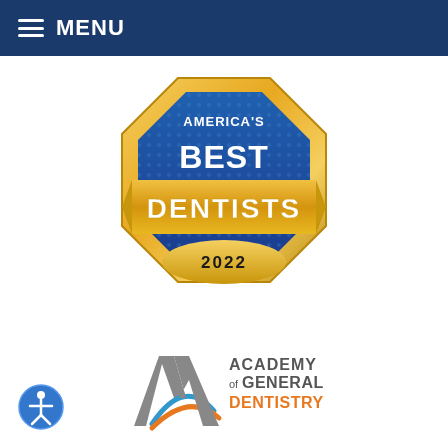MENU
[Figure (logo): America's Best Dentists 2022 award badge — gold octagon border with blue dotted background, gold ribbon banner reading DENTISTS, text: AMERICA'S BEST DENTISTS 2022]
[Figure (logo): Academy of General Dentistry logo — stylized A letterform in gray with blue and orange swoosh accents, text: ACADEMY of GENERAL DENTISTRY]